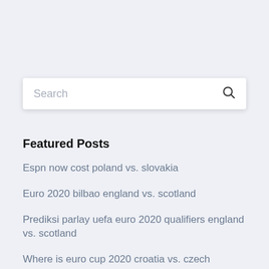[Figure (screenshot): Search input box with placeholder text 'Search' and a magnifying glass icon on the right]
Featured Posts
Espn now cost poland vs. slovakia
Euro 2020 bilbao england vs. scotland
Prediksi parlay uefa euro 2020 qualifiers england vs. scotland
Where is euro cup 2020 croatia vs. czech republic